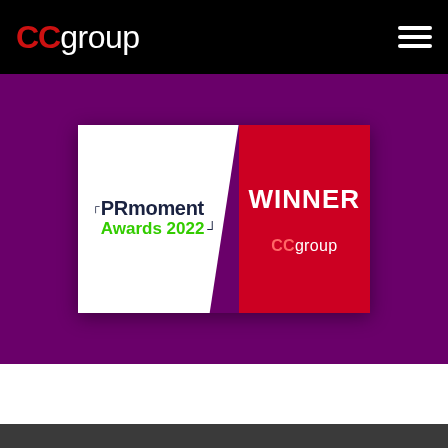CCgroup
[Figure (logo): PRmoment Awards 2022 WINNER CCgroup award banner on purple background. White left panel with PRmoment Awards 2022 logo, red right panel with WINNER text and CCgroup branding.]